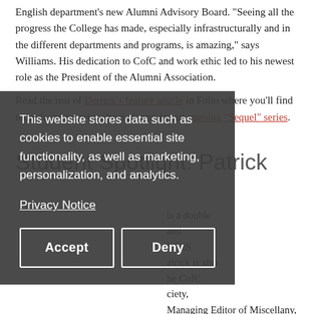English department's new Alumni Advisory Board. "Seeing all the progress the College has made, especially infrastructurally and in the different departments and programs, is amazing," says Williams. His dedication to CofC and work ethic led to his newest role as the President of the Alumni Association.
Read the rest of Derrick's feature article in Folio where you'll find more feature stories about alumni in our ongoing "Sequel" series.
Student Spotlight: Patrick
This website stores data such as cookies to enable essential site functionality, as well as marketing, personalization, and analytics.

Privacy Notice

[Accept] [Deny]
is a double and LFCS atrick is also he CofC ciety, Managing Editor of Miscellany,